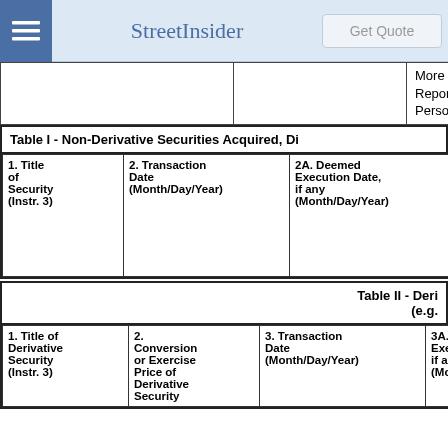StreetInsider | Get Quote
|  |  | More than One Reporting Person |
Table I - Non-Derivative Securities Acquired, Di
| 1. Title of Security (Instr. 3) | 2. Transaction Date (Month/Day/Year) | 2A. Deemed Execution Date, if any (Month/Day/Year) | 3. Transaction Code (Instr. 8) | 4. Secu Acquir Dispos (Instr. ) |
| --- | --- | --- | --- | --- |
|  |  |  | Code | V | Amou |
Table II - Deri (e.g.
| 1. Title of Derivative Security (Instr. 3) | 2. Conversion or Exercise Price of Derivative Security | 3. Transaction Date (Month/Day/Year) | 3A. Deemed Execution Date, if any (Month/Day/Year) | 4. Trans Code 8) |
| --- | --- | --- | --- | --- |